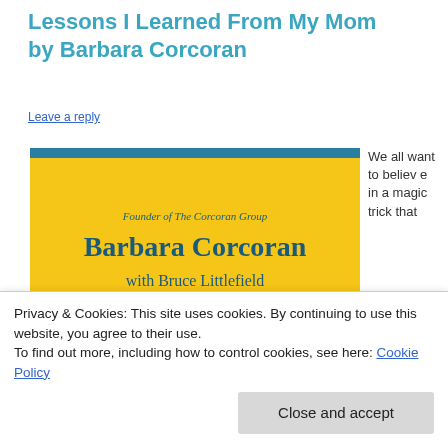Lessons I Learned From My Mom by Barbara Corcoran
Leave a reply
[Figure (photo): Book cover of 'Use What You've Got' by Barbara Corcoran with Bruce Littlefield. Yellow cover with author photo. Text reads: Founder of The Corcoran Group, Barbara Corcoran with Bruce Littlefield, USE [you've got]]
We all want to believe in a magic trick that
and
Privacy & Cookies: This site uses cookies. By continuing to use this website, you agree to their use.
To find out more, including how to control cookies, see here: Cookie Policy
Close and accept